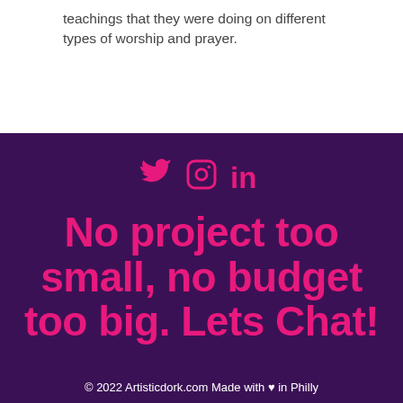teachings that they were doing on different types of worship and prayer.
[Figure (infographic): Social media icons: Twitter bird, Instagram camera, LinkedIn 'in' logo, all in pink/magenta on dark purple background]
No project too small, no budget too big. Lets Chat!
© 2022 Artisticdork.com Made with ♥ in Philly